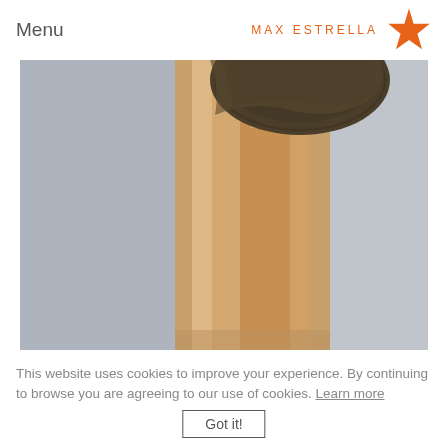Menu  MAX ESTRELLA
[Figure (photo): Gallery interior photo showing an upward angled view of a textured spherical sculpture hanging from the ceiling over a warmly lit archway or corridor with track lighting visible]
This website uses cookies to improve your experience. By continuing to browse you are agreeing to our use of cookies. Learn more
Got it!